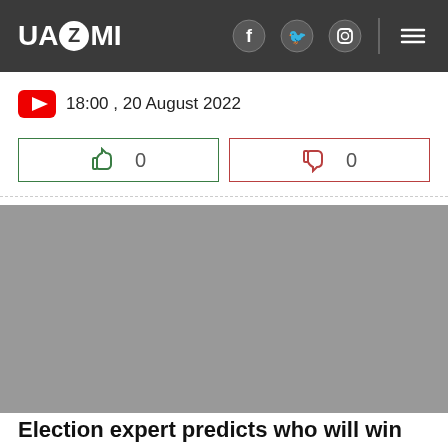UAZMI
18:00 , 20 August 2022
0  0
[Figure (photo): Gray image placeholder area]
Election expert predicts who will win